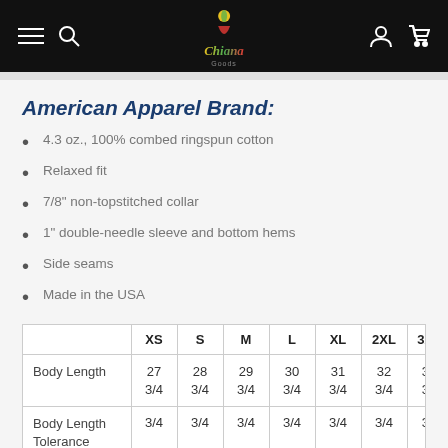Navigation bar with menu, search, logo, account, and cart icons
American Apparel Brand:
4.3 oz., 100% combed ringspun cotton
Relaxed fit
7/8" non-topstitched collar
1" double-needle sleeve and bottom hems
Side seams
Made in the USA
|  | XS | S | M | L | XL | 2XL | 3X |
| --- | --- | --- | --- | --- | --- | --- | --- |
| Body Length | 27 3/4 | 28 3/4 | 29 3/4 | 30 3/4 | 31 3/4 | 32 3/4 | 3... |
| Body Length Tolerance | 3/4 | 3/4 | 3/4 | 3/4 | 3/4 | 3/4 | 3... |
|  |  |  |  |  |  |  |  |